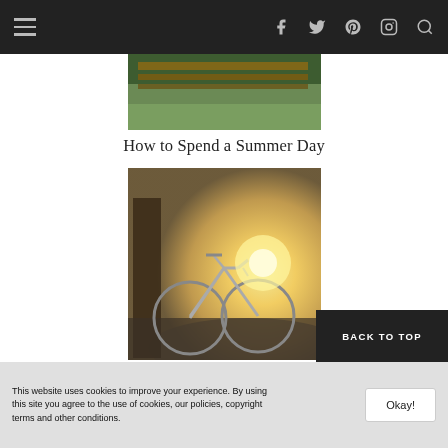Navigation bar with hamburger menu and social icons (f, Twitter, Pinterest, Instagram, Search)
[Figure (photo): Cropped photo showing a wooden bench or fence with green foliage in the background]
How to Spend a Summer Day
[Figure (photo): Photo of a bicycle leaning against a tree on a road at sunset/sunrise with bright golden light]
You'll Feel Better Knowing That You're Done
BACK TO TOP
This website uses cookies to improve your experience. By using this site you agree to the use of cookies, our policies, copyright terms and other conditions.